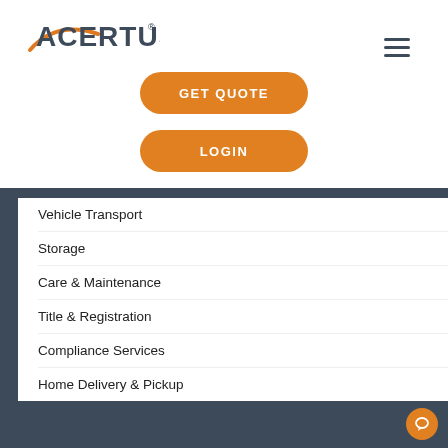[Figure (logo): ACERTUS logo with orange swoosh accent and registered trademark symbol]
[Figure (other): Hamburger menu icon (three horizontal lines)]
GET QUOTE
LOGIN
Vehicle Transport
Storage
Care & Maintenance
Title & Registration
Compliance Services
Home Delivery & Pickup